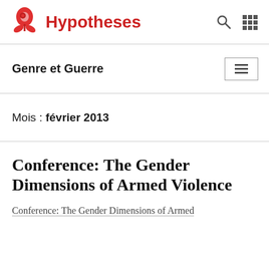Hypotheses
Genre et Guerre
Mois : février 2013
Conference: The Gender Dimensions of Armed Violence
Conference: The Gender Dimensions of Armed